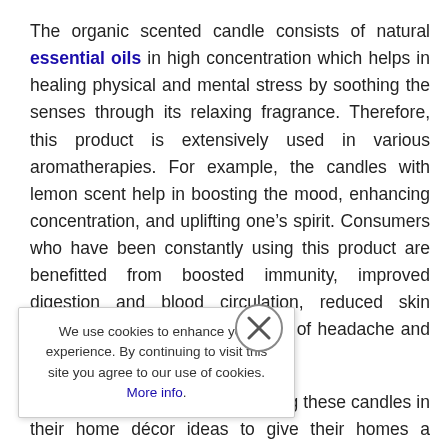The organic scented candle consists of natural essential oils in high concentration which helps in healing physical and mental stress by soothing the senses through its relaxing fragrance. Therefore, this product is extensively used in various aromatherapies. For example, the candles with lemon scent help in boosting the mood, enhancing concentration, and uplifting one's spirit. Consumers who have been constantly using this product are benefitted from boosted immunity, improved digestion and blood circulation, reduced skin problems, and reduced problems of headache and severe migraine.

Thousands of people are including these candles in their home décor ideas to give their homes a personal touch. ...a soothing touch to the living ...enhance the indoor environment ...me. Moreover, people use flowers ...ors together to create a warm ...s is expected to boost the market ...riod.
We use cookies to enhance your experience. By continuing to visit this site you agree to our use of cookies. More info.